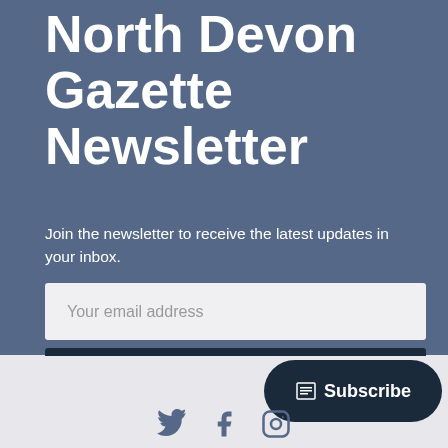North Devon Gazette Newsletter
Join the newsletter to receive the latest updates in your inbox.
[Figure (screenshot): Email input field with placeholder text 'Your email address' and a dark blue 'Subscribe' button below it]
[Figure (infographic): Dark navy pill-shaped Subscribe button in bottom right corner, with social media icons (Twitter, Facebook, Instagram) below on light grey background]